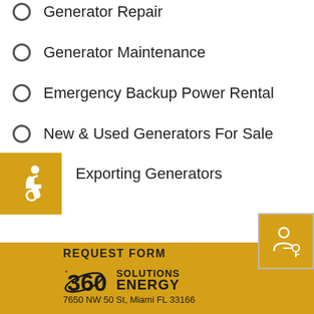Generator Repair
Generator Maintenance
Emergency Backup Power Rental
New & Used Generators For Sale
Exporting Generators
[Figure (illustration): Yellow square button with white wheelchair accessibility icon]
[Figure (illustration): Yellow square button with white person and key sharing icon]
REQUEST FORM
[Figure (logo): 360 ENERGY SOLUTIONS logo with orbital ring graphic]
7650 NW 50 St, Miami FL 33166
Phone: (786) 348-2156
Fax: (786) 348-2166
Emergency: (305) 987-3391